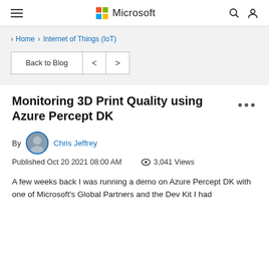Microsoft
> Home > Internet of Things (IoT)
Back to Blog < >
Monitoring 3D Print Quality using Azure Percept DK
By Chris Jeffrey
Published Oct 20 2021 08:00 AM  3,041 Views
A few weeks back I was running a demo on Azure Percept DK with one of Microsoft's Global Partners and the Dev Kit I had